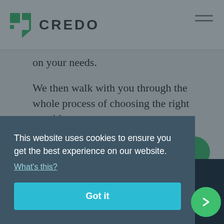CREDO
on your needs.
We then walk with you through the whole process of choosing the right provider.
See How Credo Works
This website uses cookies to ensure you get the best experience on our website. What's this?
Got it